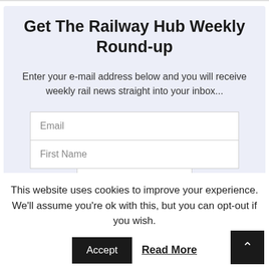Get The Railway Hub Weekly Round-up
Enter your e-mail address below and you will receive weekly rail news straight into your inbox...
[Figure (screenshot): Email signup form with Email and First Name input fields and a partially visible submit button]
This website uses cookies to improve your experience. We'll assume you're ok with this, but you can opt-out if you wish.
Accept   Read More